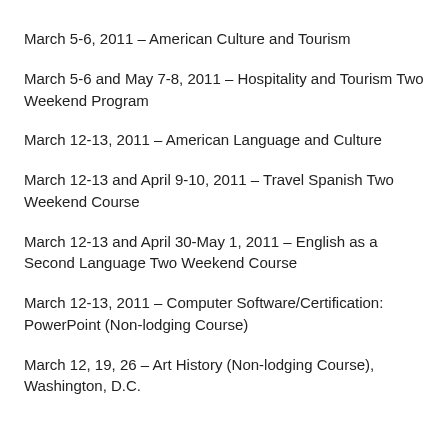March 5-6, 2011 – American Culture and Tourism
March 5-6 and May 7-8, 2011 – Hospitality and Tourism Two Weekend Program
March 12-13, 2011 – American Language and Culture
March 12-13 and April 9-10, 2011 – Travel Spanish Two Weekend Course
March 12-13 and April 30-May 1, 2011 – English as a Second Language Two Weekend Course
March 12-13, 2011 – Computer Software/Certification: PowerPoint (Non-lodging Course)
March 12, 19, 26 – Art History (Non-lodging Course), Washington, D.C.